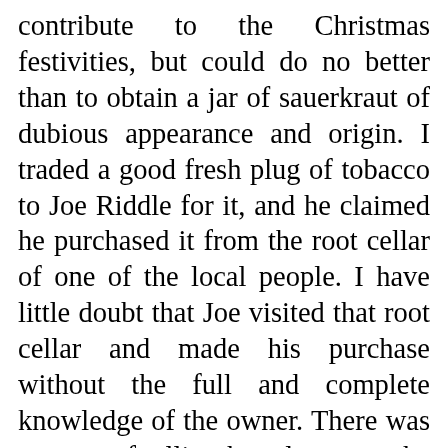contribute to the Christmas festivities, but could do no better than to obtain a jar of sauerkraut of dubious appearance and origin. I traded a good fresh plug of tobacco to Joe Riddle for it, and he claimed he purchased it from the root cellar of one of the local people. I have little doubt that Joe visited that root cellar and made his purchase without the full and complete knowledge of the owner. There was no way of telling how long ago the jar had been put up, and it had turned a color I would not normally assign to cabbage. In any event, I was not too concerned about the origin or condition, for I knew the evidence of Joe's